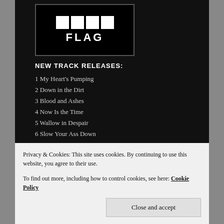[Figure (logo): Black Flag band logo: four white rectangles/bars above the word FLAG in white bold letters on a black background]
NEW TRACK RELEASES:
1 My Heart's Pumping
2 Down in the Dirt
3 Blood and Ashes
4 Now Is the Time
5 Wallow in Despair
6 Slow Your Ass Down
7 It's so Absurd
8 Shut Up
9 This Is Hell
Privacy & Cookies: This site uses cookies. By continuing to use this website, you agree to their use.
To find out more, including how to control cookies, see here: Cookie Policy
16 Get Out of My Way